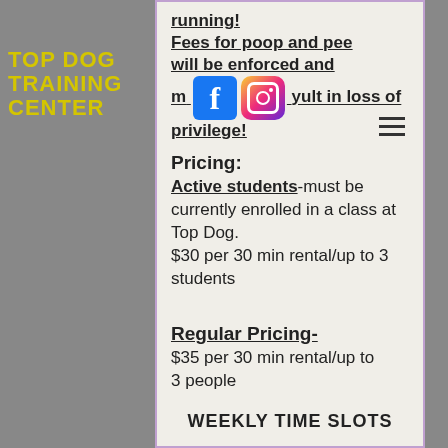TOP DOG TRAINING CENTER
running!
Fees for poop and pee will be enforced and may result in loss of privilege!
[Figure (logo): Facebook and Instagram social media icons]
Pricing:
Active students-must be currently enrolled in a class at Top Dog.
$30 per 30 min rental/up to 3 students
Regular Pricing-
$35 per 30 min rental/up to 3 people
WEEKLY TIME SLOTS